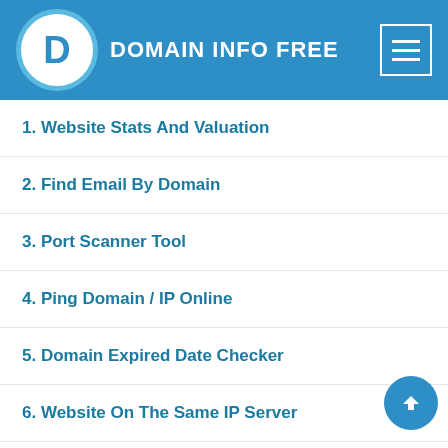DOMAIN INFO FREE
1. Website Stats And Valuation
2. Find Email By Domain
3. Port Scanner Tool
4. Ping Domain / IP Online
5. Domain Expired Date Checker
6. Website On The Same IP Server
7. List Domains With Extension
8. List Hosting Providers
9. List Domain Providers